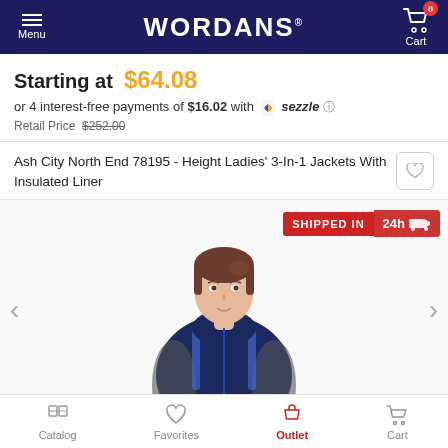WORDANS
Starting at $64.08
or 4 interest-free payments of $16.02 with sezzle
Retail Price $252.00
Ash City North End 78195 - Height Ladies' 3-In-1 Jackets With Insulated Liner
[Figure (photo): Woman wearing a navy blue and grey 3-in-1 insulated jacket with a hood, shown from the front. A red 'SHIPPED IN 24h' badge with a truck icon appears in the top-right of the image area.]
Catalog  Favorites  Outlet  Cart